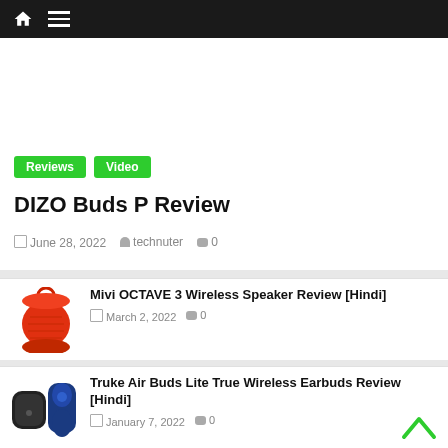Navigation bar with home and menu icons
[Figure (photo): Three wireless earbuds in blue, white, and black colors shown from top view]
Reviews
Video
DIZO Buds P Review
June 28, 2022  technuter  0
[Figure (photo): Red cylindrical portable Bluetooth speaker (Mivi OCTAVE 3) with red strap loop on top]
Mivi OCTAVE 3 Wireless Speaker Review [Hindi]
March 2, 2022  0
[Figure (photo): Black earbuds case and blue true wireless earbuds (Truke Air Buds Lite)]
Truke Air Buds Lite True Wireless Earbuds Review [Hindi]
January 7, 2022  0